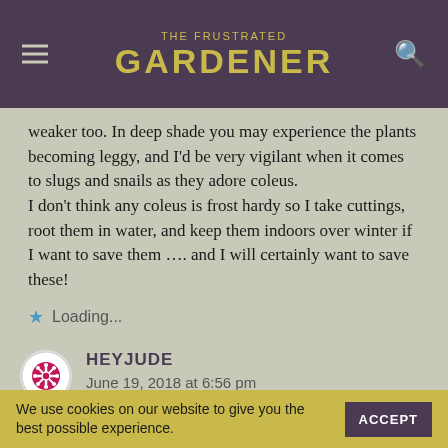THE FRUSTRATED GARDENER
weaker too. In deep shade you may experience the plants becoming leggy, and I'd be very vigilant when it comes to slugs and snails as they adore coleus.
I don't think any coleus is frost hardy so I take cuttings, root them in water, and keep them indoors over winter if I want to save them …. and I will certainly want to save these!
Loading...
HEYJUDE
June 19, 2018 at 6:56 pm
We use cookies on our website to give you the best possible experience.